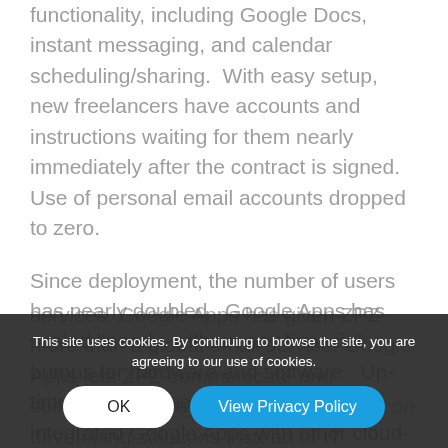functionality, including Google Docs, instant messaging, and calendar scheduling/sharing.  With easy setup, new freelancers have accounts and instructions waiting for them nearly immediately after the contract is signed.  Use of personal email accounts dropped to zero.
Since deployment, the number of users has nearly doubled.  Google Apps has scaled linearly, without any financial bumps for hardware and software.  Up-time has been perfect and ZPZ has integrated Google Apps with other cloud-based solutions.
With Horizon's deployment expertise and support services, Google Apps has given ZPZ more than a global email service. Google Apps lets ZPZ communicate and collaborate in ways that let them focus on developing solutions instead of IT
This site uses cookies. By continuing to browse the site, you are agreeing to our use of cookies.